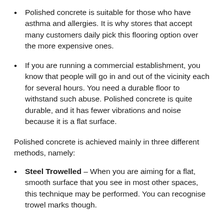Polished concrete is suitable for those who have asthma and allergies. It is why stores that accept many customers daily pick this flooring option over the more expensive ones.
If you are running a commercial establishment, you know that people will go in and out of the vicinity each for several hours. You need a durable floor to withstand such abuse. Polished concrete is quite durable, and it has fewer vibrations and noise because it is a flat surface.
Polished concrete is achieved mainly in three different methods, namely:
Steel Trowelled – When you are aiming for a flat, smooth surface that you see in most other spaces, this technique may be performed. You can recognise trowel marks though.